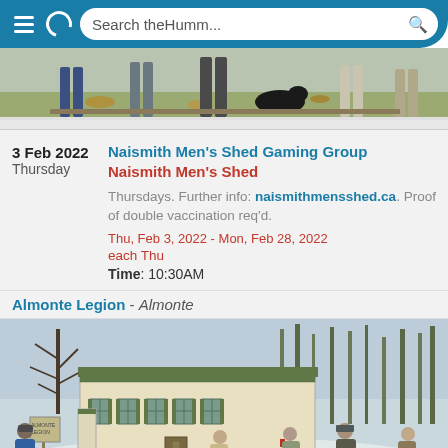[Figure (screenshot): Mobile browser top bar with menu icon, reload icon, and search field showing 'Search theHumm...']
[Figure (photo): Partial photo showing group of people with a black dog outdoors among autumn leaves]
3 Feb 2022
Thursday
Naismith Men's Shed Gaming Group
Naismith Men's Shed
Thursdays. Further info: naismithmensshed.ca. Proof of double vaccination req'd.
Thu, Feb 3, 2022 - Mon, Feb 28, 2022
each Thu
Time: 10:30AM
Almonte Legion - Almonte
[Figure (photo): Winter scene showing people gathered outside an old heritage building (Almonte Legion) with snow on the ground and bare trees in background]